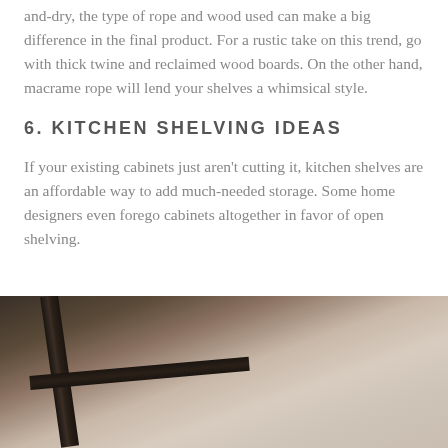and-dry, the type of rope and wood used can make a big difference in the final product. For a rustic take on this trend, go with thick twine and reclaimed wood boards. On the other hand, macrame rope will lend your shelves a whimsical style.
6. KITCHEN SHELVING IDEAS
If your existing cabinets just aren't cutting it, kitchen shelves are an affordable way to add much-needed storage. Some home designers even forego cabinets altogether in favor of open shelving.
[Figure (photo): Close-up photo of what appears to be a kitchen shelf bracket or arm against a neutral wall background]